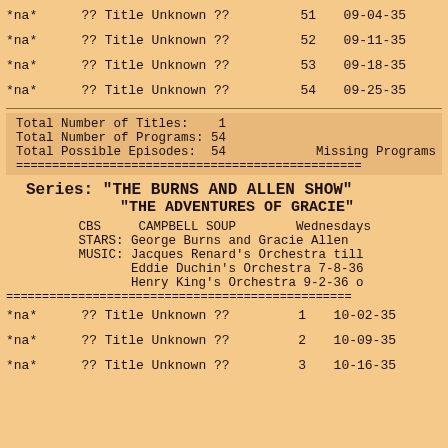*na*    ?? Title Unknown ??    51  09-04-35
*na*    ?? Title Unknown ??    52  09-11-35
*na*    ?? Title Unknown ??    53  09-18-35
*na*    ?? Title Unknown ??    54  09-25-35
| Total Number of Titles:    1 |  |
| Total Number of Programs: 54 |  |
| Total Possible Episodes:  54 | Missing Programs |
Series: "THE BURNS AND ALLEN SHOW" "THE ADVENTURES OF GRACIE"
CBS    CAMPBELL SOUP    Wednesdays
STARS: George Burns and Gracie Allen
MUSIC: Jacques Renard's Orchestra till
Eddie Duchin's Orchestra 7-8-36
Henry King's Orchestra 9-2-36 o
*na*    ?? Title Unknown ??    1  10-02-35
*na*    ?? Title Unknown ??    2  10-09-35
*na*    ?? Title Unknown ??    3  10-16-35